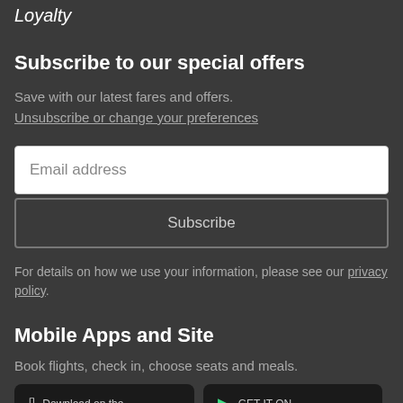Loyalty
Subscribe to our special offers
Save with our latest fares and offers.
Unsubscribe or change your preferences
Email address
Subscribe
For details on how we use your information, please see our privacy policy.
Mobile Apps and Site
Book flights, check in, choose seats and meals.
Download on the
GET IT ON